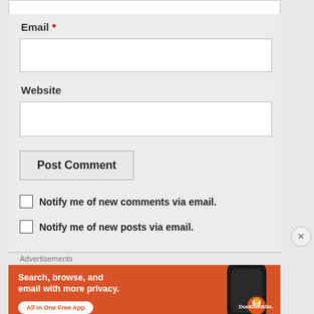Email *
Website
Post Comment
Notify me of new comments via email.
Notify me of new posts via email.
Advertisements
[Figure (screenshot): DuckDuckGo advertisement banner: orange background with text 'Search, browse, and email with more privacy. All in One Free App' and a phone showing the DuckDuckGo logo]